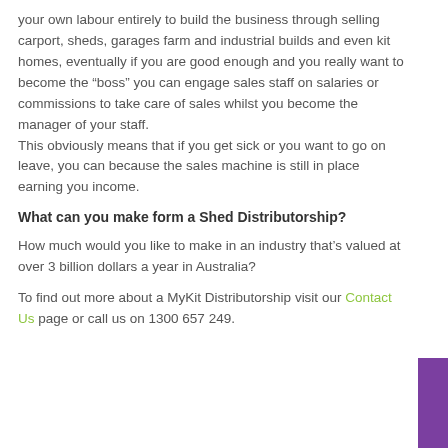your own labour entirely to build the business through selling carport, sheds, garages farm and industrial builds and even kit homes, eventually if you are good enough and you really want to become the “boss” you can engage sales staff on salaries or commissions to take care of sales whilst you become the manager of your staff.
This obviously means that if you get sick or you want to go on leave, you can because the sales machine is still in place earning you income.
What can you make form a Shed Distributorship?
How much would you like to make in an industry that’s valued at over 3 billion dollars a year in Australia?
To find out more about a MyKit Distributorship visit our Contact Us page or call us on 1300 657 249.